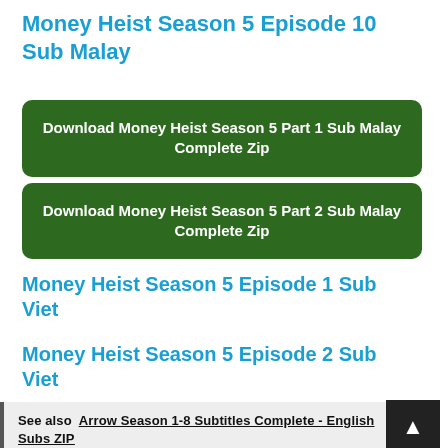Money Heist Season 5 Episode 10 Sub Malay
[Figure (other): Green button: Download Money Heist Season 5 Part 1 Sub Malay Complete Zip]
[Figure (other): Green button: Download Money Heist Season 5 Part 2 Sub Malay Complete Zip]
Money Heist Season 5 Episode 1 Sub Viet
Money Heist Season 5 Episode 2 Sub Viet
See also  Arrow Season 1-8 Subtitles Complete - English Subs ZIP
[Figure (other): Dark scroll-to-top button with upward arrow]